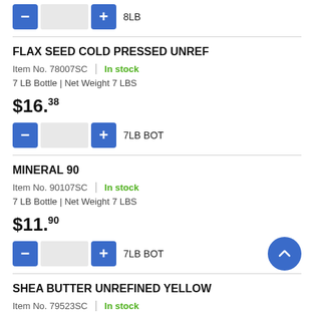8LB
FLAX SEED COLD PRESSED UNREF
Item No. 78007SC  |  In stock
7 LB Bottle | Net Weight 7 LBS
$16.38
7LB BOT
MINERAL 90
Item No. 90107SC  |  In stock
7 LB Bottle | Net Weight 7 LBS
$11.90
7LB BOT
SHEA BUTTER UNREFINED YELLOW
Item No. 79523SC  |  In stock